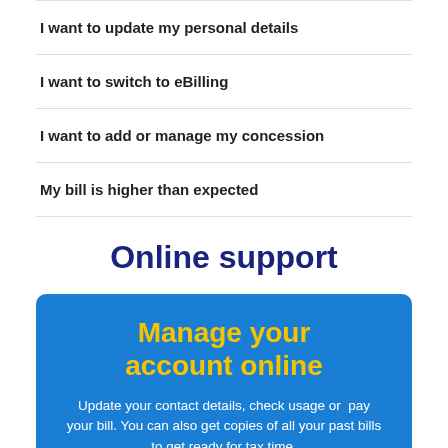I want to update my personal details
I want to switch to eBilling
I want to add or manage my concession
My bill is higher than expected
Online support
Manage your account online
Update your contact details, check usage or pay your bill. You can also get copies of all your past bills to get ready for tax time.